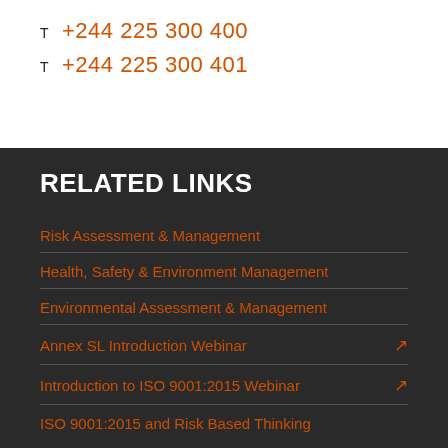T  +244 225 300 400
T  +244 225 300 401
RELATED LINKS
Risk Assessment & Management
Health, Safety & Environment Management
Environmental Assessment & Management
Annex SL Introduction Webinar
Introduction to ISO 9001:2015 Webinar
ISO 9001:2015 and Risk Based Thinking